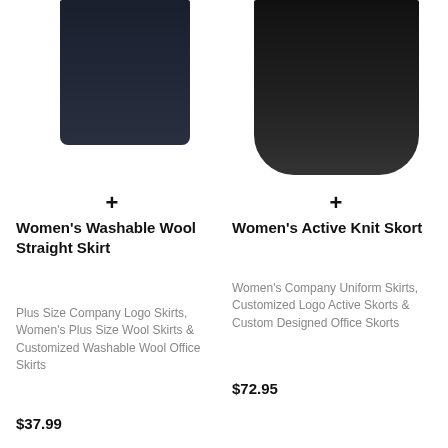[Figure (photo): Partial view of a dark navy women's straight skirt, cropped at top]
[Figure (photo): Dark black women's active knit skort, full lower portion visible]
+
+
Women's Washable Wool Straight Skirt
Women's Active Knit Skort
Plus Size Company Logo Skirts, Women's Plus Size Wool Skirts & Customized Washable Wool Office Skirts
Women's Company Uniform Skirts, Customized Logo Active Skorts & Custom Designed Office Skorts
$37.99
$72.95